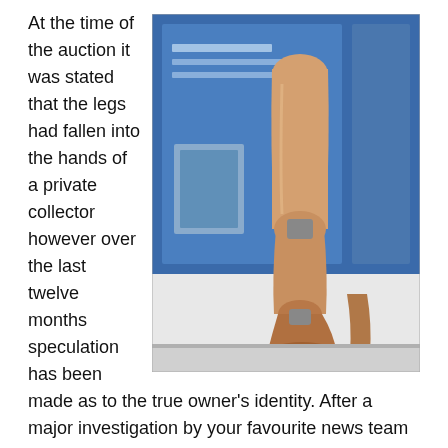At the time of the auction it was stated that the legs had fallen into the hands of a private collector however over the last twelve months speculation has been made as to the true owner's identity. After a major investigation by your favourite news team we can at last confirm that Lady Mills has become the owner of the flying ace's appendages.
[Figure (photo): Photograph of prosthetic legs displayed in a museum or exhibition setting, with a blue display board visible in the background.]
We spoke to a spokesman for the Bader family and he confirmed, they the family are utterly shocked at the news that has reached them. When grandfather Bader died we could have just dumped his legs in the bin but we thought